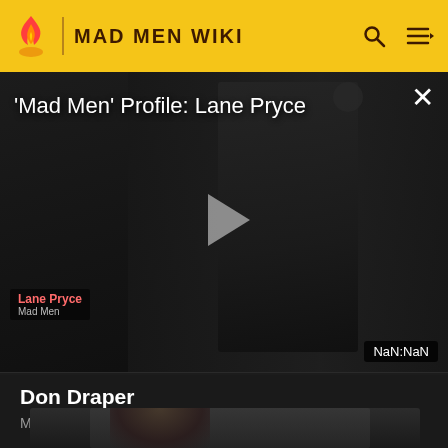MAD MEN WIKI
[Figure (screenshot): Video player showing 'Mad Men' Profile: Lane Pryce — dark scene with man in suit and glasses, play button overlay, NaN:NaN time display, Lane Pryce / Mad Men label in lower left, X close button in upper right]
Don Draper
Mad Men Wiki
[Figure (photo): Partial view of a person with dark hair in a dark setting, bottom strip of page]